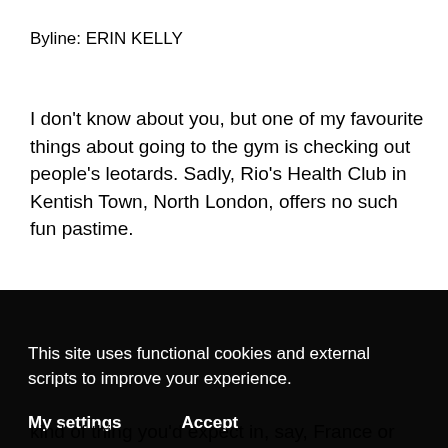Byline: ERIN KELLY
I don't know about you, but one of my favourite things about going to the gym is checking out people's leotards. Sadly, Rio's Health Club in Kentish Town, North London, offers no such fun pastime.
A small, intimate establishment, it has all the features you'd expect to find in a private gym.
This site uses functional cookies and external scripts to improve your experience.
My settings    Accept
kind of thing you'd expect in, say, France or